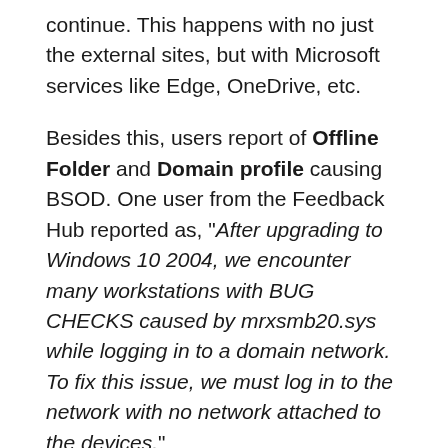continue. This happens with no just the external sites, but with Microsoft services like Edge, OneDrive, etc.
Besides this, users report of Offline Folder and Domain profile causing BSOD. One user from the Feedback Hub reported as, "After upgrading to Windows 10 2004, we encounter many workstations with BUG CHECKS caused by mrxsmb20.sys while logging in to a domain network. To fix this issue, we must log in to the network with no network attached to the devices."